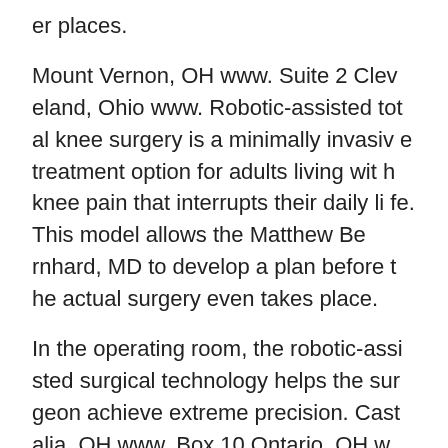er places.
Mount Vernon, OH www. Suite 2 Cleveland, Ohio www. Robotic-assisted total knee surgery is a minimally invasive treatment option for adults living with knee pain that interrupts their daily life. This model allows the Matthew Bernhard, MD to develop a plan before the actual surgery even takes place.
In the operating room, the robotic-assisted surgical technology helps the surgeon achieve extreme precision. Castalia, OH www. Box 10 Ontario, OH www. Ontario, OH www. Plus, we provide trust services and investment man